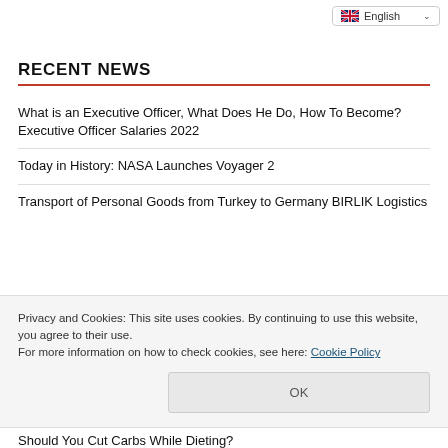English
RECENT NEWS
What is an Executive Officer, What Does He Do, How To Become? Executive Officer Salaries 2022
Today in History: NASA Launches Voyager 2
Transport of Personal Goods from Turkey to Germany BIRLIK Logistics
Privacy and Cookies: This site uses cookies. By continuing to use this website, you agree to their use.
For more information on how to check cookies, see here: Cookie Policy
Should You Cut Carbs While Dieting?